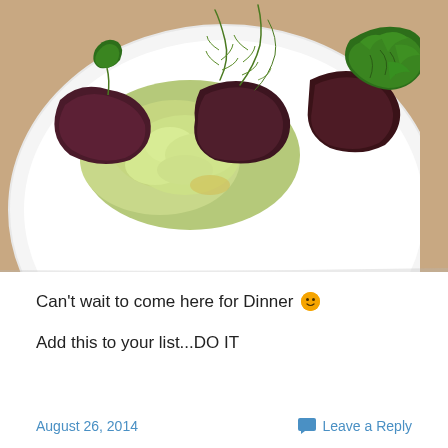[Figure (photo): Overhead photo of a white plate with green avocado spread, dark purple/maroon lettuce leaves, fresh dill and parsley herbs, on a beige/brown table surface]
Can't wait to come here for Dinner 🙂
Add this to your list...DO IT
August 26, 2014   Leave a Reply